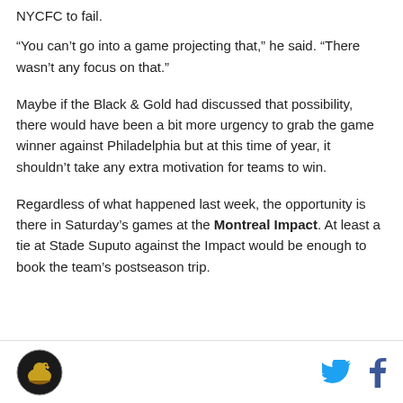NYCFC to fail.
“You can’t go into a game projecting that,” he said. “There wasn’t any focus on that.”
Maybe if the Black & Gold had discussed that possibility, there would have been a bit more urgency to grab the game winner against Philadelphia but at this time of year, it shouldn’t take any extra motivation for teams to win.
Regardless of what happened last week, the opportunity is there in Saturday’s games at the Montreal Impact. At least a tie at Stade Suputo against the Impact would be enough to book the team’s postseason trip.
Logo and social icons